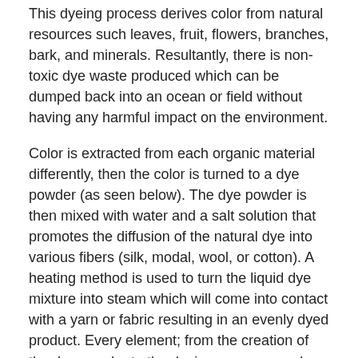This dyeing process derives color from natural resources such leaves, fruit, flowers, branches, bark, and minerals. Resultantly, there is non-toxic dye waste produced which can be dumped back into an ocean or field without having any harmful impact on the environment.
Color is extracted from each organic material differently, then the color is turned to a dye powder (as seen below). The dye powder is then mixed with water and a salt solution that promotes the diffusion of the natural dye into various fibers (silk, modal, wool, or cotton). A heating method is used to turn the liquid dye mixture into steam which will come into contact with a yarn or fabric resulting in an evenly dyed product. Every element; from the creation of the dye powder to the dyeing process used natural resources and minimal water, showing the